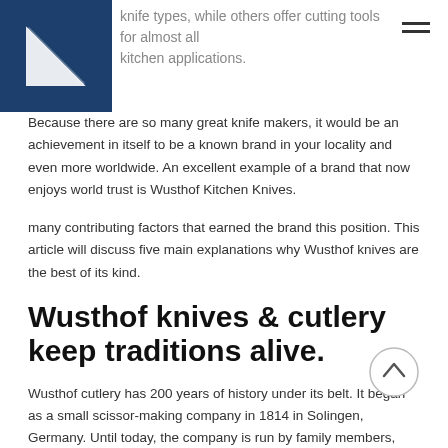knife types, while others offer cutting tools for almost all kitchen applications.
[Figure (logo): Blue triangular logo on dark blue square background]
Because there are so many great knife makers, it would be an achievement in itself to be a known brand in your locality and even more worldwide. An excellent example of a brand that now enjoys world trust is Wusthof Kitchen Knives.
many contributing factors that earned the brand this position. This article will discuss five main explanations why Wusthof knives are the best of its kind.
Wusthof knives & cutlery keep traditions alive.
Wusthof cutlery has 200 years of history under its belt. It began as a small scissor-making company in 1814 in Solingen, Germany. Until today, the company is run by family members, which undoubtedly keeps the family tradition running. If you
[Figure (other): Circular scroll-to-top button with upward arrow]